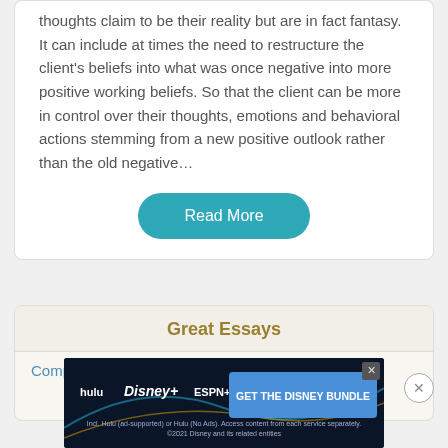thoughts claim to be their reality but are in fact fantasy. It can include at times the need to restructure the client's beliefs into what was once negative into more positive working beliefs. So that the client can be more in control over their thoughts, emotions and behavioral actions stemming from a new positive outlook rather than the old negative…
Read More
Great Essays
Compare And Contrast Counselling
[Figure (screenshot): Advertisement banner for the Disney Bundle showing Hulu, Disney+, and ESPN+ logos with text 'GET THE DISNEY BUNDLE']